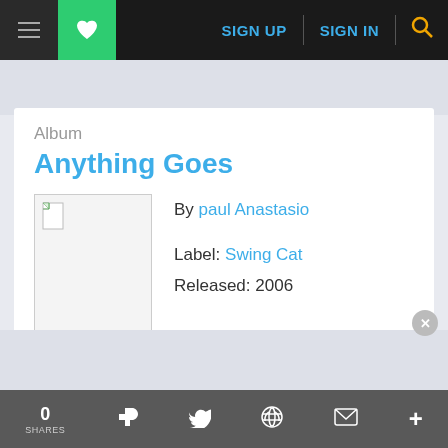SIGN UP  SIGN IN
Album
Anything Goes
By paul Anastasio
Label: Swing Cat
Released: 2006
0 SHARES  [facebook]  [twitter]  [reddit]  [mail]  [plus]